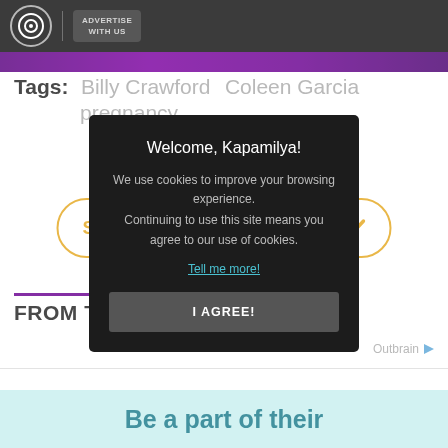[Figure (screenshot): Top navigation bar with circular logo icon and 'ADVERTISE WITH US' button on dark background]
Tags: Billy Crawford  Coleen Garcia  pregnancy
[Figure (other): SHOW COMMENTS button with gold/yellow border and chevron icon]
FROM TH
[Figure (other): Outbrain logo/link area]
[Figure (screenshot): Cookie consent modal: 'Welcome, Kapamilya! We use cookies to improve your browsing experience. Continuing to use this site means you agree to our use of cookies. Tell me more! I AGREE!']
Be a part of their